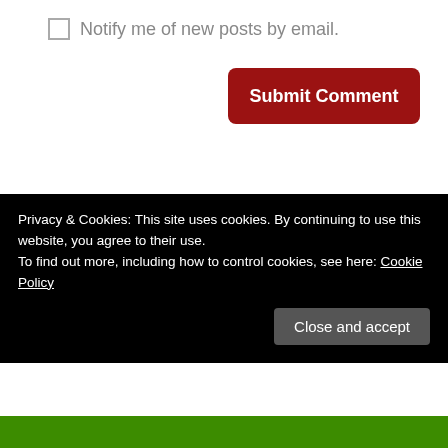Notify me of new posts by email.
Submit Comment
Looking For Something?
Privacy & Cookies: This site uses cookies. By continuing to use this website, you agree to their use.
To find out more, including how to control cookies, see here: Cookie Policy
Close and accept